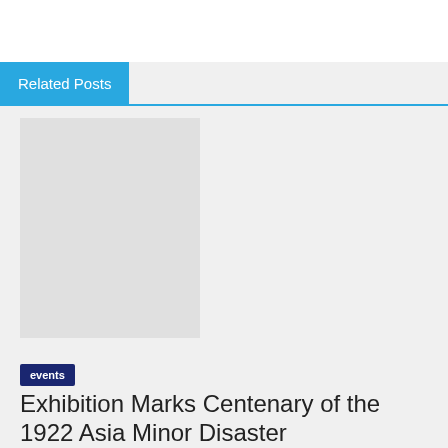Related Posts
[Figure (other): Gray placeholder image area for a related post thumbnail]
events
Exhibition Marks Centenary of the 1922 Asia Minor Disaster